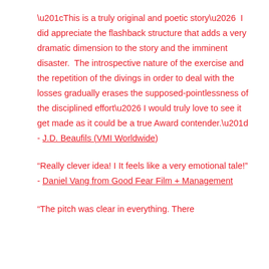“This is a truly original and poetic story…  I did appreciate the flashback structure that adds a very dramatic dimension to the story and the imminent disaster.  The introspective nature of the exercise and the repetition of the divings in order to deal with the losses gradually erases the supposed-pointlessness of the disciplined effort… I would truly love to see it get made as it could be a true Award contender.”
- J.D. Beaufils (VMI Worldwide)
“Really clever idea! I It feels like a very emotional tale!” - Daniel Vang from Good Fear Film + Management
“The pitch was clear in everything. There